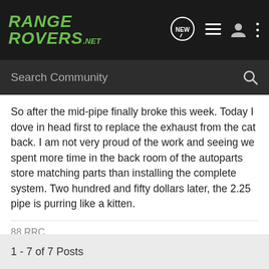RANGE ROVERS .NET
Search Community
So after the mid-pipe finally broke this week. Today I dove in head first to replace the exhaust from the cat back. I am not very proud of the work and seeing we spent more time in the back room of the autoparts store matching parts than installing the complete system. Two hundred and fifty dollars later, the 2.25 pipe is purring like a kitten.
88 RRC
1 - 7 of 7 Posts